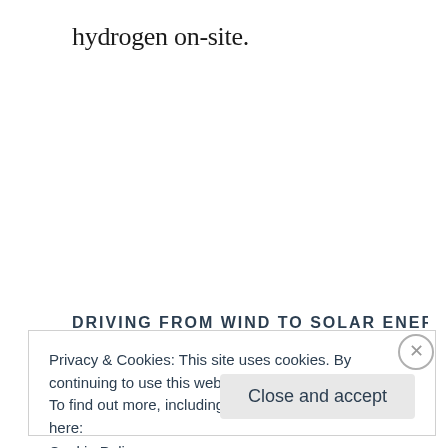hydrogen on-site.
DRIVING FROM WIND TO SOLAR ENERGY
Privacy & Cookies: This site uses cookies. By continuing to use this website, you agree to their use.
To find out more, including how to control cookies, see here:
Cookie Policy
Close and accept